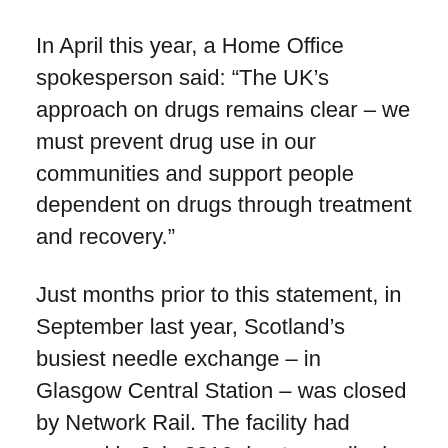In April this year, a Home Office spokesperson said: “The UK’s approach on drugs remains clear – we must prevent drug use in our communities and support people dependent on drugs through treatment and recovery.”
Just months prior to this statement, in September last year, Scotland’s busiest needle exchange – in Glasgow Central Station – was closed by Network Rail. The facility had opened in July 2016 due to a spike in the number of HIV cases in the city. Network Rail said they were forced to take this action after drug taking equipment was found in public areas.
Both of these setbacks can be attributed, in part, to the portrayals that are pushed by some of the tabloid press in Scotland. Their particular fixation with the term ‘junkie’ to describe those who have fallen into an addiction to drugs